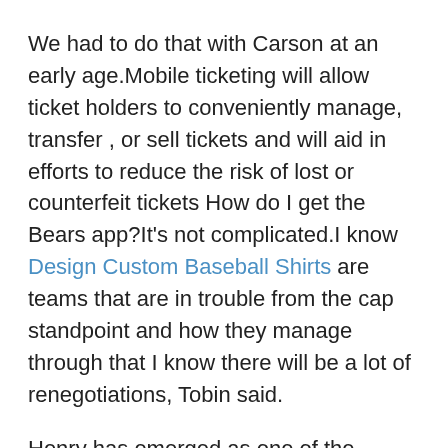We had to do that with Carson at an early age.Mobile ticketing will allow ticket holders to conveniently manage, transfer , or sell tickets and will aid in efforts to reduce the risk of lost or counterfeit tickets How do I get the Bears app?It's not complicated.I know Design Custom Baseball Shirts are teams that are in trouble from the cap standpoint and how they manage through that I know there will be a lot of renegotiations, Tobin said.
Henry has emerged as one of the premier TEs in the AFC.I can't wait to see how we respond, because every week is a new opportunity to show what we're made of, and we're really being tested right now.He's done a good job running their rhythm passing game also.
The last few months have been unbelievably hard.